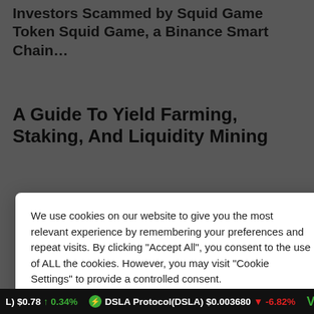Investors Scammed by Squid Game Token Squid Game, a Binance Smart Chain…
A Guide To Yield Farming, Staking, And Liquidity Mining
We use cookies on our website to give you the most relevant experience by remembering your preferences and repeat visits. By clicking "Accept All", you consent to the use of ALL the cookies. However, you may visit "Cookie Settings" to provide a controlled consent.
Cookie Settings  Accept All
Ethereum (1,000+) Community Gets Another Airdrop For The Holidays
(L) $0.78 ↑ 0.34%   DSLA Protocol(DSLA) $0.003680 ↓ -6.82%   V